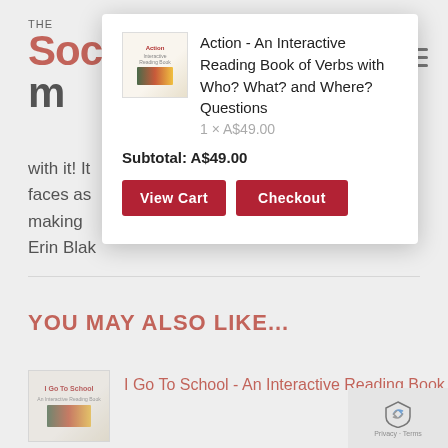[Figure (screenshot): Website logo: THE Soc m (partial, obscured by modal)]
with it! It... t in their faces as... an on making... ank you! Erin Blak...
[Figure (screenshot): Shopping cart modal popup showing: Action - An Interactive Reading Book of Verbs with Who? What? and Where? Questions, 1 x A$49.00, Subtotal: A$49.00, View Cart and Checkout buttons]
YOU MAY ALSO LIKE...
[Figure (photo): Book cover thumbnail: I Go To School - An Interactive Reading Book]
I Go To School - An Interactive Reading Book